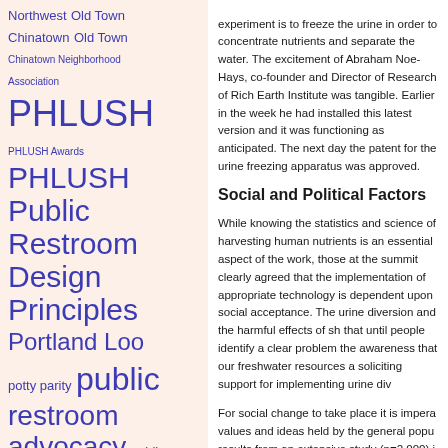[Figure (other): Word cloud / tag cloud with terms related to public restrooms, PHLUSH, Portland Loo, public toilets, restroom design, etc. in varying font sizes on a light peach background. Text is in dark blue/purple color.]
experiment is to freeze the urine in order to concentrate nutrients and separate the water. The excitement of Abraham Noe-Hays, co-founder and Director of Research of Rich Earth Institute was tangible. Earlier in the week he had installed this latest version and it was functioning as anticipated. The next day the patent for the urine freezing apparatus was approved.
Social and Political Factors
While knowing the statistics and science of harvesting human nutrients is an essential aspect of the work, those at the summit clearly agreed that the implementation of appropriate technology is dependent upon social acceptance. The urine diversion and the harmful effects of sh that until people identify a clear problem the awareness that our freshwater resources a soliciting support for implementing urine div
For social change to take place it is impera values and ideas held by the general popu results from an extensive study (n=2,000) i